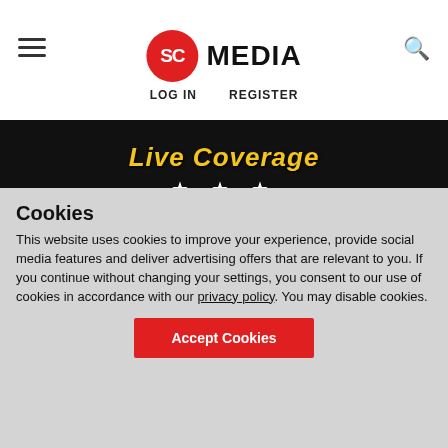SC MEDIA | LOG IN  REGISTER
[Figure (screenshot): Dark banner with 'Live Coverage' text in gold italic, three white stars, and a 'VIEW WINNERS' button with gold border]
[Figure (photo): Dark image strip with partial view of a colorful bird or decoration on the left side]
Cookies
This website uses cookies to improve your experience, provide social media features and deliver advertising offers that are relevant to you. If you continue without changing your settings, you consent to our use of cookies in accordance with our privacy policy. You may disable cookies.
Accept Cookies